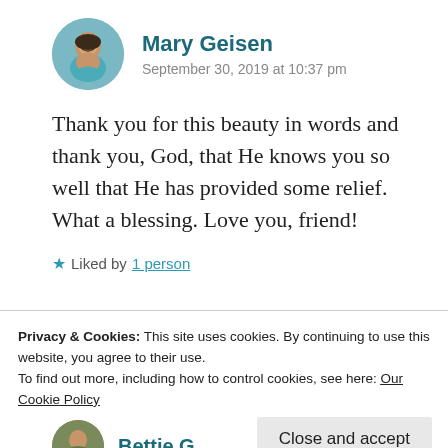[Figure (photo): Circular avatar photo of Mary Geisen, a woman smiling, wearing teal/turquoise top]
Mary Geisen
September 30, 2019 at 10:37 pm
Thank you for this beauty in words and thank you, God, that He knows you so well that He has provided some relief. What a blessing. Love you, friend!
★ Liked by 1 person
Privacy & Cookies: This site uses cookies. By continuing to use this website, you agree to their use.
To find out more, including how to control cookies, see here: Our Cookie Policy
Close and accept
Bettie G
[Figure (photo): Circular avatar photo of Bettie G, partially visible at bottom]